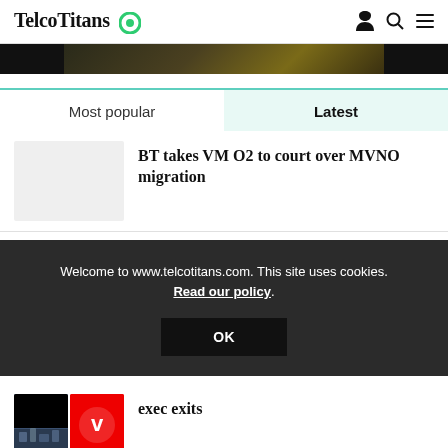TelcoTitans
[Figure (photo): Dark golden/yellow image strip at top of page, partially visible]
Most popular
Latest
BT takes VM O2 to court over MVNO migration
[Figure (photo): Placeholder light gray thumbnail image for article]
[Figure (photo): Red background partial thumbnail for second article]
exec exits
[Figure (photo): Two thumbnails side by side: city skyline and Vodafone logo]
Welcome to www.telcotitans.com. This site uses cookies. Read our policy.
OK